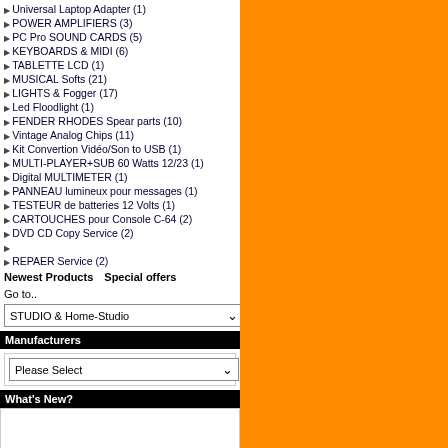Universal Laptop Adapter (1)
POWER AMPLIFIERS (3)
PC Pro SOUND CARDS (5)
KEYBOARDS & MIDI (6)
TABLETTE LCD (1)
MUSICAL Softs (21)
LIGHTS & Fogger (17)
Led Floodlight (1)
FENDER RHODES Spear parts (10)
Vintage Analog Chips (11)
Kit Convertion Vidéo/Son to USB (1)
MULTI-PLAYER+SUB 60 Watts 12/23 (1)
Digital MULTIMETER (1)
PANNEAU lumineux pour messages (1)
TESTEUR de batteries 12 Volts (1)
CARTOUCHES pour Console C-64 (2)
DVD CD Copy Service (2)
REPAER Service (2)
Newest Products
Special offers
Go to..
STUDIO & Home-Studio
Manufacturers
Please Select
What's New?